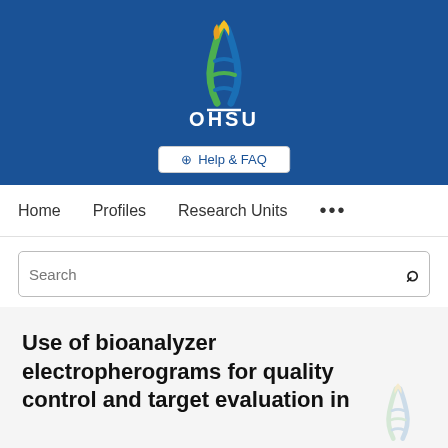[Figure (logo): OHSU (Oregon Health & Science University) logo on blue banner background with DNA helix flame design and OHSU text in white]
Help & FAQ
Home   Profiles   Research Units   ...
Search
Use of bioanalyzer electropherograms for quality control and target evaluation in